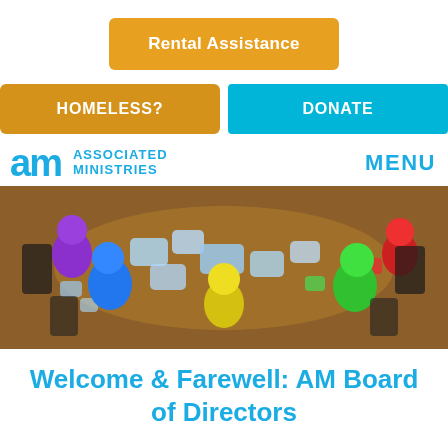[Figure (other): Orange rounded rectangle button labeled 'Rental Assistance' in white bold text]
[Figure (other): Two side-by-side buttons: golden-yellow 'HOMELESS?' and teal/cyan 'DONATE']
[Figure (other): Associated Ministries logo with 'am' in cyan and text 'ASSOCIATED MINISTRIES', plus MENU link on the right]
[Figure (illustration): Colorful 3D cartoon figures (blue, purple, yellow, green, red) seated around a round table working on puzzle pieces]
Welcome & Farewell: AM Board of Directors
[Figure (other): Orange button labeled 'TRANSLATE »']